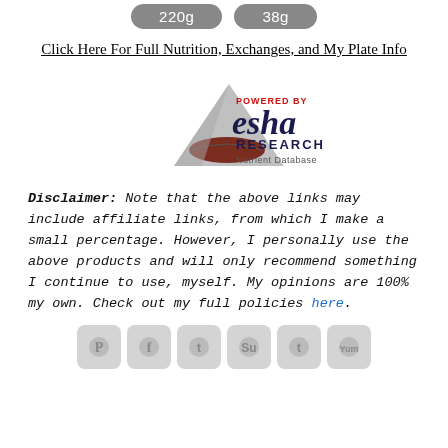[Figure (other): Two grey rounded-rectangle buttons showing '220g' and '38g' nutrient amounts]
Click Here For Full Nutrition, Exchanges, and My Plate Info
[Figure (logo): ESHA Research Nutrient Database logo — grey pyramid with red bowl, 'POWERED BY esha RESEARCH Nutrient Database' text]
Disclaimer:  Note that the above links may include affiliate links, from which I make a small percentage. However, I personally use the above products and will only recommend something I continue to use, myself. My opinions are 100% my own. Check out my full policies here.
[Figure (other): Row of social sharing icon buttons: Pinterest, Facebook, Twitter, StumbleUpon, Tumblr, Yummly]